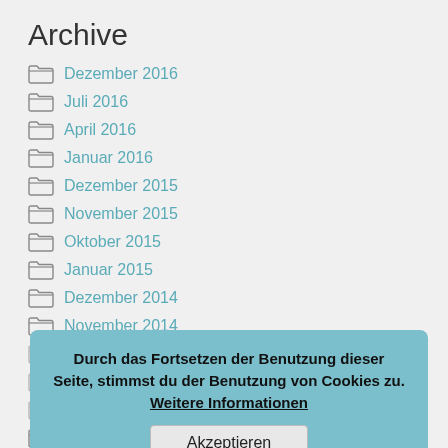Archive
Dezember 2016
Juli 2016
April 2016
Januar 2016
Dezember 2015
November 2015
Oktober 2015
Januar 2015
Dezember 2014
November 2014
Oktober 2014
September 2014
August 2014
Juli 2014
Durch das Fortsetzen der Benutzung dieser Seite, stimmst du der Benutzung von Cookies zu. Weitere Informationen